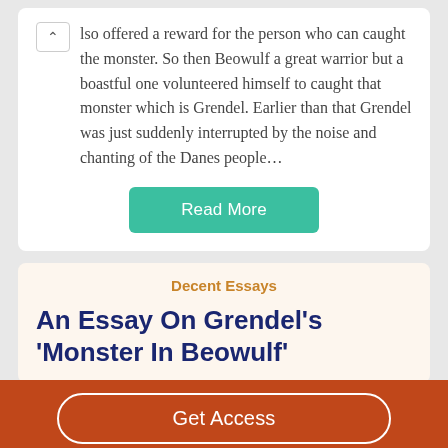lso offered a reward for the person who can caught the monster. So then Beowulf a great warrior but a boastful one volunteered himself to caught that monster which is Grendel. Earlier than that Grendel was just suddenly interrupted by the noise and chanting of the Danes people…
Read More
Decent Essays
An Essay On Grendel's 'Monster In Beowulf'
Get Access